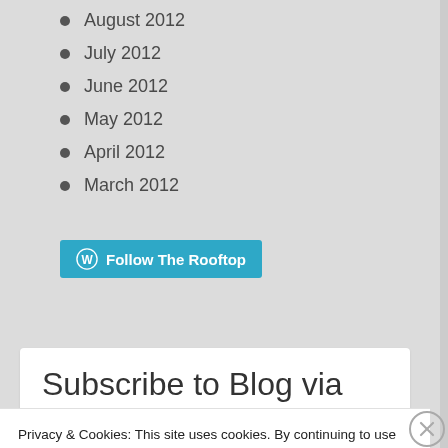August 2012
July 2012
June 2012
May 2012
April 2012
March 2012
Follow The Rooftop
Subscribe to Blog via Email
Privacy & Cookies: This site uses cookies. By continuing to use this website, you agree to their use.
To find out more, including how to control cookies, see here: Cookie Policy
Close and accept